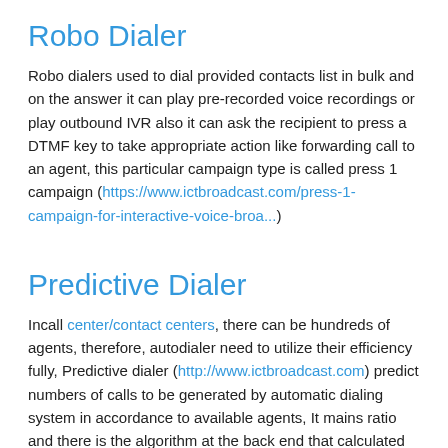Robo Dialer
Robo dialers used to dial provided contacts list in bulk and on the answer it can play pre-recorded voice recordings or play outbound IVR also it can ask the recipient to press a DTMF key to take appropriate action like forwarding call to an agent, this particular campaign type is called press 1 campaign (https://www.ictbroadcast.com/press-1-campaign-for-interactive-voice-broa...)
Predictive Dialer
Incall center/contact centers, there can be hundreds of agents, therefore, autodialer need to utilize their efficiency fully, Predictive dialer (http://www.ictbroadcast.com) predict numbers of calls to be generated by automatic dialing system in accordance to available agents, It mains ratio and there is the algorithm at the back end that calculated and predict that how many calls need to be generated in order to maximum engage agents and utilize their full efficiency